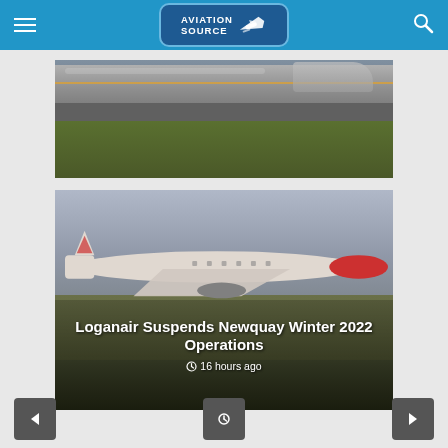Aviation Source
[Figure (photo): Cropped view of airplanes on airport tarmac with green grass in foreground]
[Figure (photo): Loganair aircraft in flight over airport, with text overlay reading 'Loganair Suspends Newquay Winter 2022 Operations' and timestamp '16 hours ago']
Loganair Suspends Newquay Winter 2022 Operations
16 hours ago